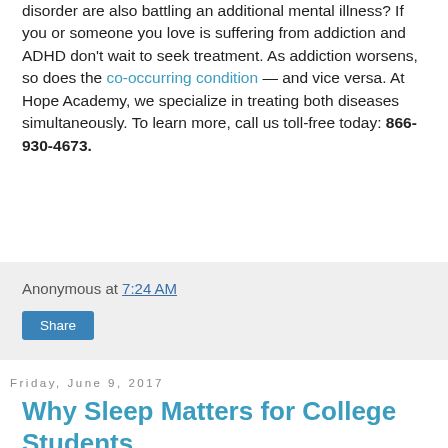Did you know that 75 percent of people with a substance use disorder are also battling an additional mental illness? If you or someone you love is suffering from addiction and ADHD don't wait to seek treatment. As addiction worsens, so does the co-occurring condition — and vice versa. At Hope Academy, we specialize in treating both diseases simultaneously. To learn more, call us toll-free today: 866-930-4673.
Anonymous at 7:24 AM
Share
Friday, June 9, 2017
Why Sleep Matters for College Students